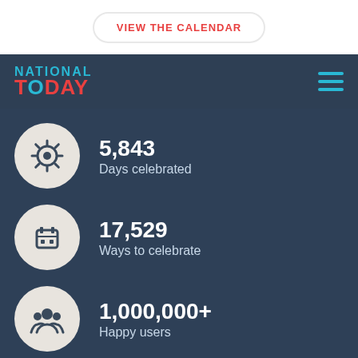VIEW THE CALENDAR
[Figure (logo): National Today logo with hamburger menu icon]
5,843
Days celebrated
17,529
Ways to celebrate
1,000,000+
Happy users
ABOUT US
Our Mission